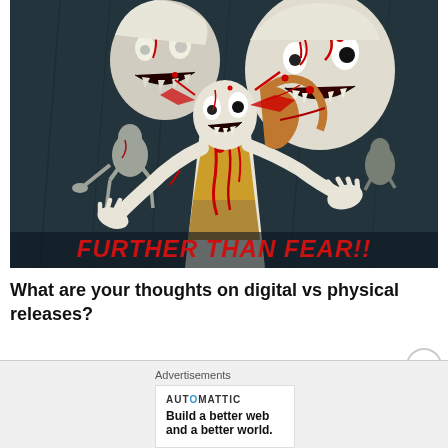[Figure (illustration): Horror comic book style illustration with zombie-like figures covered in blood, a central female figure in a torn outfit, with red text at the bottom reading 'FURTHER THAN FEAR!!']
What are your thoughts on digital vs physical releases?
Advertisements
AUTOMATTIC
Build a better web and a better world.